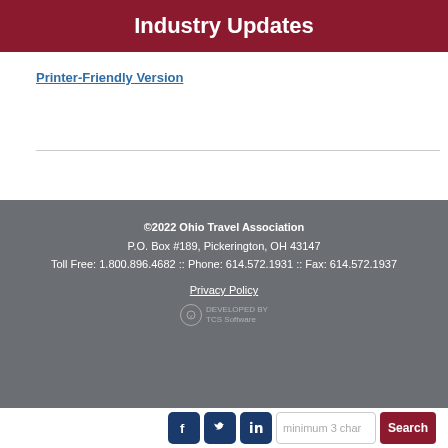Industry Updates
Printer-Friendly Version
©2022 Ohio Travel Association
P.O. Box #189, Pickerington, OH 43147
Toll Free: 1.800.896.4682 :: Phone: 614.572.1931 :: Fax: 614.572.1937
Privacy Policy
[Figure (logo): TCS Software developed by badge]
[Figure (infographic): Social media icons (Facebook, Twitter, LinkedIn) and a search bar with Search button at the bottom of the page]